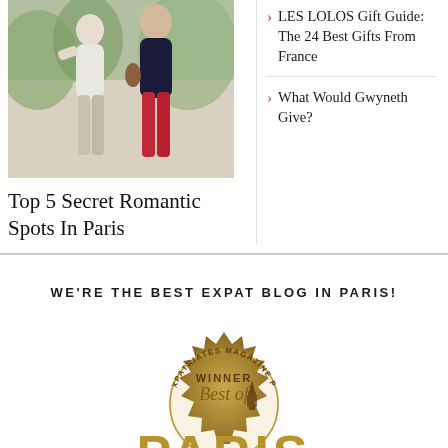[Figure (photo): Two people walking together outdoors, one in white outfit and one in dark top with red pants]
Top 5 Secret Romantic Spots In Paris
LES LOLOS Gift Guide: The 24 Best Gifts From France
What Would Gwyneth Give?
WE'RE THE BEST EXPAT BLOG IN PARIS!
[Figure (logo): Award badge: Winner Best of Paris by Expatriates Magazine Paris]